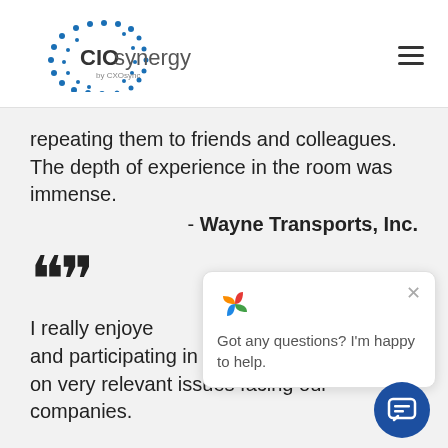[Figure (logo): CIOsynergy by CXOsync logo with circular dot pattern]
repeating them to friends and colleagues. The depth of experience in the room was immense.
- Wayne Transports, Inc.
““
I really enjoyed networking with leaders, and participating in small group discussions on very relevant issues facing our companies.
Got any questions? I'm happy to help.